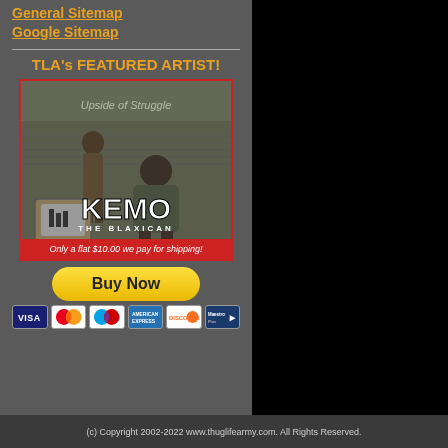General Sitemap
Google Sitemap
TLA's FEATURED ARTIST!
[Figure (photo): Album cover for KEMO THE BLAXICAN - Upside of Struggle. Shows urban scene with a man sitting in front of a TV. Red border with shipping text at bottom: Only a flat $10.00 we pay for shipping!]
[Figure (other): Buy Now PayPal button with payment card icons: VISA, Mastercard, Maestro, AmEx, Discover, MaestroPlus]
(c) Copyright 2002-2022 www.thuglifearmy.com. All Rights Reserved.